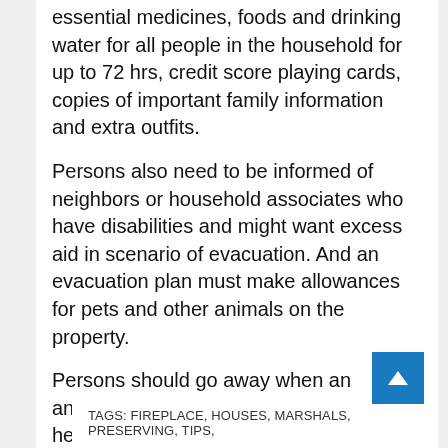essential medicines, foods and drinking water for all people in the household for up to 72 hrs, credit score playing cards, copies of important family information and extra outfits.
Persons also need to be informed of neighbors or household associates who have disabilities and might want excess aid in scenario of evacuation. And an evacuation plan must make allowances for pets and other animals on the property.
Persons should go away when an analysis purchase is issued, and the hearth marshal's workplace proposed leaving regardless of whether or not an buy has been issued, if the residence owners assume the problem is threatening.
TAGS: FIREPLACE, HOUSES, MARSHALS, PRESERVING, TIPS,